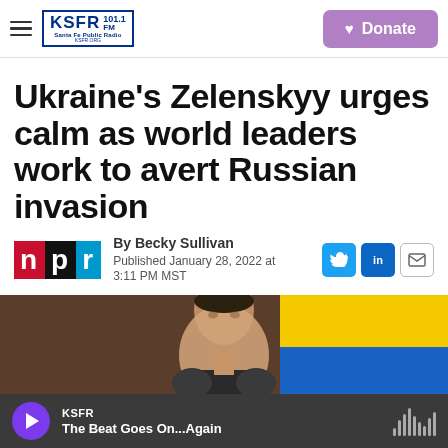KSFR 101.1 FM Santa Fe Public Radio | Donate
Ukraine's Zelenskyy urges calm as world leaders work to avert Russian invasion
By Becky Sullivan
Published January 28, 2022 at 3:11 PM MST
[Figure (photo): Photo of Zelenskyy in front of a yellow and blue Ukrainian flag background]
KSFR
The Beat Goes On...Again